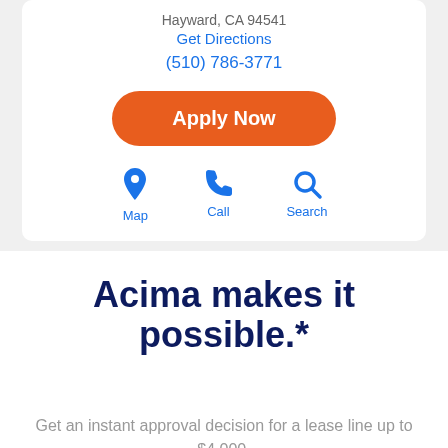Hayward, CA 94541
Get Directions
(510) 786-3771
Apply Now
[Figure (infographic): Three icons: Map (location pin), Call (phone), Search (magnifying glass) with labels in blue]
Acima makes it possible.*
Get an instant approval decision for a lease line up to $4,000.